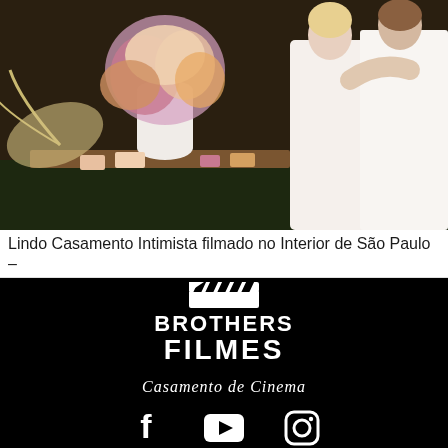[Figure (photo): Wedding photo showing a couple embracing outdoors with a floral arrangement table in the foreground, featuring colorful flowers in a white vase with palm leaf decorations]
Lindo Casamento Intimista filmado no Interior de São Paulo –
[Figure (logo): Brothers Filmes logo on black background with clapperboard icon, bold white text BROTHERS FILMES, script tagline Casamento de Cinema, and social media icons for Facebook, YouTube, and Instagram]